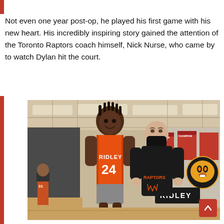Not even one year post-op, he played his first game with his new heart. His incredibly inspiring story gained the attention of the Toronto Raptors coach himself, Nick Nurse, who came by to watch Dylan hit the court.
[Figure (photo): Two people posing together inside a school gymnasium. The taller person on the left is a young man wearing an orange Ridley #24 basketball jersey. The shorter person on the right is wearing a black mask and a black Raptors hoodie. The gym background shows banners, a tiger mascot logo, and another Ridley sign.]